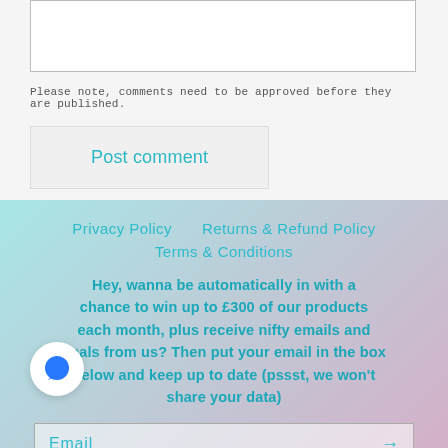Please note, comments need to be approved before they are published.
Post comment
Privacy Policy   Returns & Refund Policy
Terms & Conditions
Hey, wanna be automatically in with a chance to win up to £300 of our products each month, plus receive nifty emails and deals from us? Then put your email in the box below and keep up to date (pssst, we won't share your data)
Email →